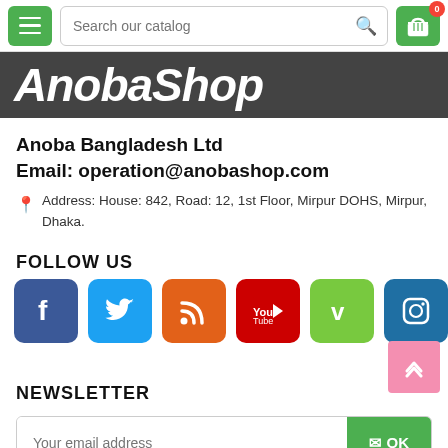[Figure (screenshot): Mobile e-commerce navigation bar with hamburger menu, search input, and cart icon]
[Figure (logo): AnobaShop logo in white italic bold text on dark grey background]
Anoba Bangladesh Ltd
Email: operation@anobashop.com
Address: House: 842, Road: 12, 1st Floor, Mirpur DOHS, Mirpur, Dhaka.
FOLLOW US
[Figure (infographic): Social media icons: Facebook, Twitter, RSS, YouTube, Vimeo, Instagram, and a black icon]
NEWSLETTER
[Figure (screenshot): Newsletter email input form with green OK button]